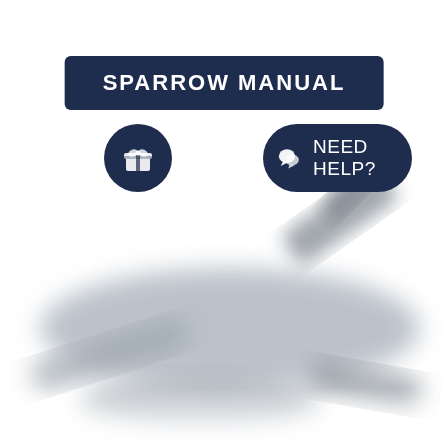SPARROW MANUAL
[Figure (photo): Blurred photo of disassembled firearm parts (Sparrow suppressor components) scattered on a white background]
[Figure (infographic): Dark navy rounded pill badge with chat bubble icon and text 'NEED HELP?']
[Figure (infographic): Dark navy circular badge with gift box icon]